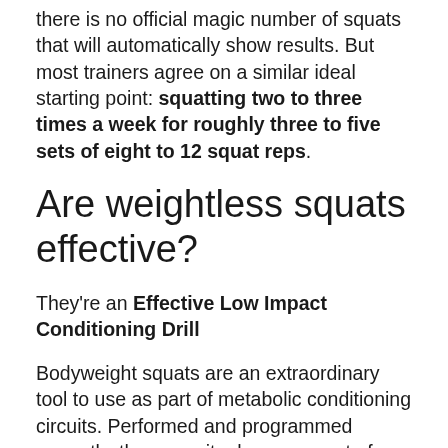there is no official magic number of squats that will automatically show results. But most trainers agree on a similar ideal starting point: squatting two to three times a week for roughly three to five sets of eight to 12 squat reps.
Are weightless squats effective?
They're an Effective Low Impact Conditioning Drill
Bodyweight squats are an extraordinary tool to use as part of metabolic conditioning circuits. Performed and programmed correctly, they recruit a huge amount of muscle and burn a ton of calories.